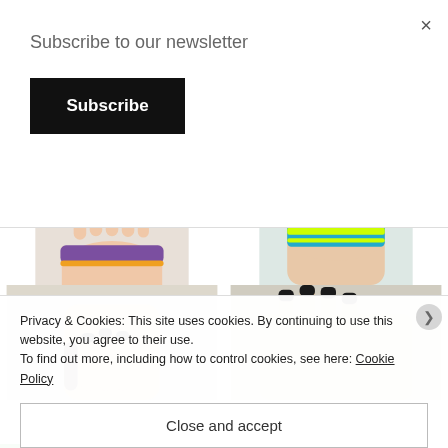×
Subscribe to our newsletter
Subscribe
[Figure (photo): Hand wearing a purple and orange crocheted bracelet, with black painted nails]
[Figure (photo): Wrist wearing a cyan and neon yellow crocheted bracelet, with black painted nails]
[Figure (photo): Hand holding a crochet bracelet, partially visible, bottom-left]
[Figure (photo): Hand with black painted nails, bottom-right, partially visible]
Privacy & Cookies: This site uses cookies. By continuing to use this website, you agree to their use.
To find out more, including how to control cookies, see here: Cookie Policy
Close and accept